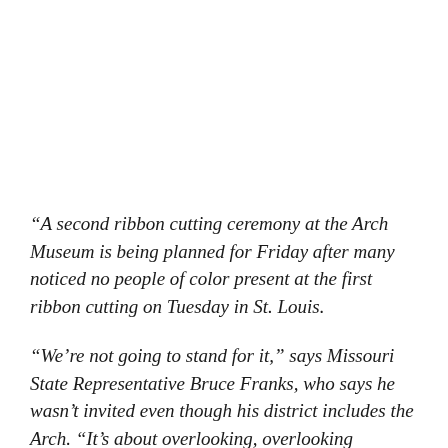“A second ribbon cutting ceremony at the Arch Museum is being planned for Friday after many noticed no people of color present at the first ribbon cutting on Tuesday in St. Louis.
“We’re not going to stand for it,” says Missouri State Representative Bruce Franks, who says he wasn’t invited even though his district includes the Arch. “It’s about overlooking, overlooking communities, stepping over communities that have been forgotten about.”
The Gateway Arch park Foundation posted an apology